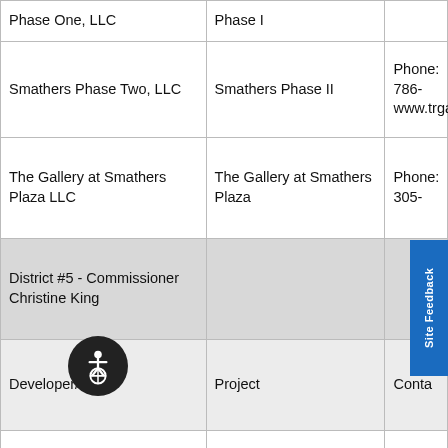| Developer/Entity | Project | Contact |
| --- | --- | --- |
| Phase One, LLC | Phase I |  |
| Smathers Phase Two, LLC | Smathers Phase II | Phone: 786-
www.trgaffo |
| The Gallery at Smathers Plaza LLC | The Gallery at Smathers Plaza | Phone: 305- |
| District #5 - Commissioner Christine King |  |  |
| Developer/Entity | Project | Conta |
| Overtown Development Group, Inc. | Arena Gardens | Ingri |
| Carlisle Development Group | The Anchorage | Phone: 305- |